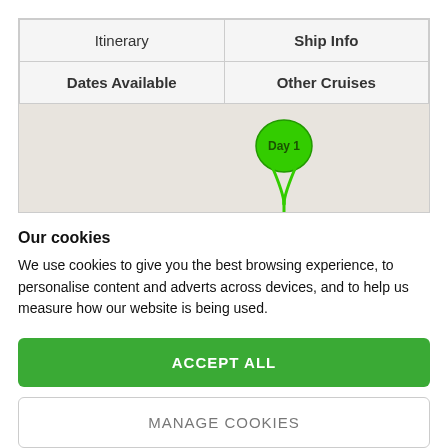| Itinerary | Ship Info |
| --- | --- |
| Dates Available | Other Cruises |
[Figure (map): Map area showing a light beige/gray background with a green map pin marker labeled 'Day 1']
Our cookies
We use cookies to give you the best browsing experience, to personalise content and adverts across devices, and to help us measure how our website is being used.
ACCEPT ALL
MANAGE COOKIES